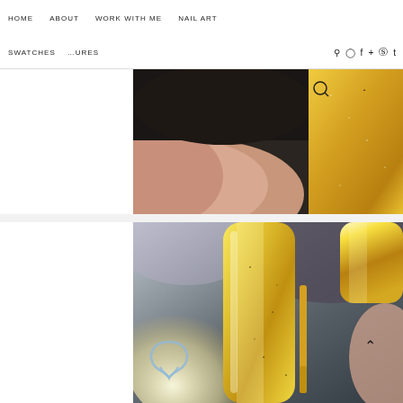HOME   ABOUT   WORK WITH ME   NAIL ART
SWATCHES   ...URES   🔍   ✦ ⊙ f + ⊕ t
[Figure (photo): Close-up of gold/metallic nail polish on fingernails, warm gold shimmer]
[Figure (photo): Close-up of gold shimmer nail polish bottle with brush applicator, logo watermark and chevron up arrow visible]